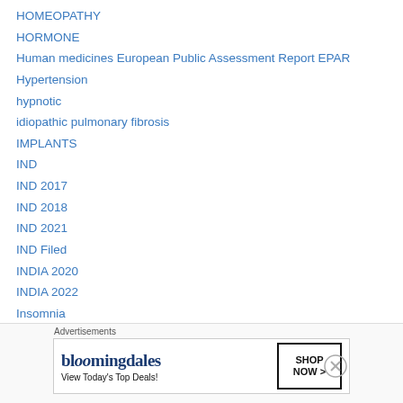HOMEOPATHY
HORMONE
Human medicines European Public Assessment Report EPAR
Hypertension
hypnotic
idiopathic pulmonary fibrosis
IMPLANTS
IND
IND 2017
IND 2018
IND 2021
IND Filed
INDIA 2020
INDIA 2022
Insomnia
Investigational device exemption (IDE) approval
JAPAN 2020 (truncated)
[Figure (other): Bloomingdale's advertisement banner with text 'View Today's Top Deals!' and 'SHOP NOW >' button]